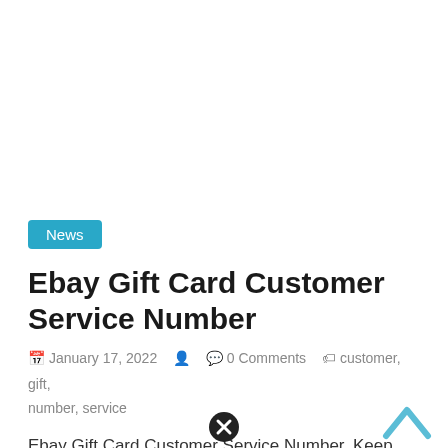[Figure (other): Close/dismiss button (X icon) at top center of page]
[Figure (other): Empty white image area / placeholder at top]
News
Ebay Gift Card Customer Service Number
January 17, 2022   0 Comments   customer, gift, number, service
Ebay Gift Card Customer Service Number. Keep the ebay gift card itself and your receipt for the ebay gift card.
Read more
[Figure (other): Close/dismiss button (X icon) at bottom center of page]
[Figure (other): Chevron up arrow at bottom right]